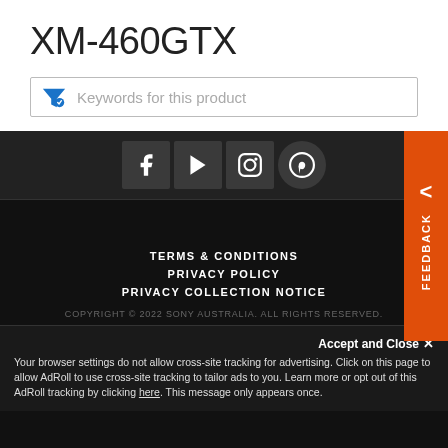XM-460GTX
Keywords for this product
[Figure (screenshot): Social media icons bar: Facebook, YouTube, Instagram, Pinterest on dark background with orange feedback tab on right side]
TERMS & CONDITIONS
PRIVACY POLICY
PRIVACY COLLECTION NOTICE
COPYRIGHT © 2022 SONY AUSTRALIA. ALL RIGHTS RESERVED.
Accept and Close ✕
Your browser settings do not allow cross-site tracking for advertising. Click on this page to allow AdRoll to use cross-site tracking to tailor ads to you. Learn more or opt out of this AdRoll tracking by clicking here. This message only appears once.